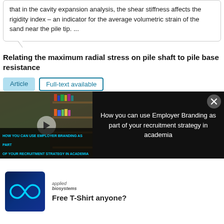that in the cavity expansion analysis, the shear stiffness affects the rigidity index – an indicator for the average volumetric strain of the sand near the pile tip. ...
Relating the maximum radial stress on pile shaft to pile base resistance
Article   Full-text available
Dec 2011 · GEOTECHNIQUE
J. Yang · Feng Mu
View   Show abstract
[Figure (screenshot): Video overlay showing people in a library setting with a play button, titled 'How you can use Employer Branding as part of your recruitment strategy in academia'. Dark background with white text on the right side and a close button.]
[Figure (photo): Advertisement showing Applied Biosystems logo (infinity symbol on blue background) with text 'Free T-Shirt anyone?']